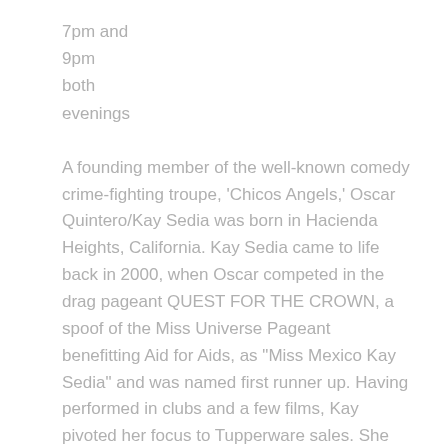7pm and
9pm
both
evenings
A founding member of the well-known comedy crime-fighting troupe, 'Chicos Angels,' Oscar Quintero/Kay Sedia was born in Hacienda Heights, California. Kay Sedia came to life back in 2000, when Oscar competed in the drag pageant QUEST FOR THE CROWN, a spoof of the Miss Universe Pageant benefitting Aid for Aids, as "Miss Mexico Kay Sedia" and was named first runner up. Having performed in clubs and a few films, Kay pivoted her focus to Tupperware sales. She hosts Tupperware parties all around the country, and is one of the top selling Tupperware Divas in all of the United States and Canada.
Taco Kisses will be presented as the first show in